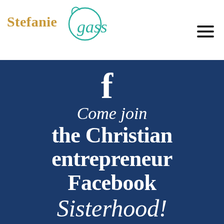Stefanie Gass — logo and navigation hamburger menu
[Figure (infographic): Dark blue promotional banner with Facebook 'f' icon, script text 'Come join', bold serif text 'the Christian entrepreneur Facebook', and cursive text 'Sisterhood!' on a navy blue background]